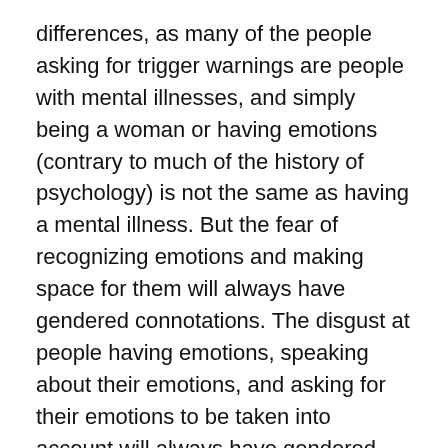differences, as many of the people asking for trigger warnings are people with mental illnesses, and simply being a woman or having emotions (contrary to much of the history of psychology) is not the same as having a mental illness. But the fear of recognizing emotions and making space for them will always have gendered connotations. The disgust at people having emotions, speaking about their emotions, and asking for their emotions to be taken into account will always have gendered connotations.
When we talk about third and fourth wave feminism and the ways that we can embrace things that are traditionally viewed as feminine instead of simply saying that women can do all that men can do, this is what I think of. I think of the ways that the emotional labor women has done needs